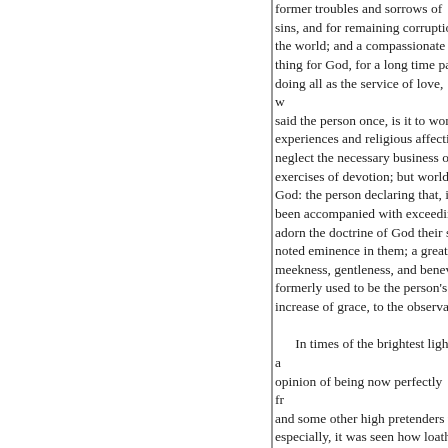former troubles and sorrows of sins, and for remaining corruption the world; and a compassionate thing for God, for a long time pa doing all as the service of love, w said the person once, is it to wor experiences and religious affecti neglect the necessary business o exercises of devotion; but world God: the person declaring that, it been accompanied with exceedi adorn the doctrine of God their s noted eminence in them; a great meekness, gentleness, and benev formerly used to be the person's increase of grace, to the observat

    In times of the brightest light a opinion of being now perfectly f and some other high pretenders t especially, it was seen how loath appearing like rottenness and co instruction or means of grace any sensible of the need of instructio